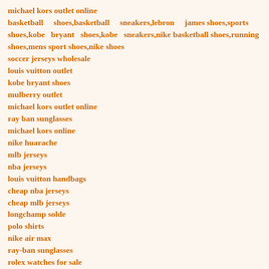michael kors outlet online
basketball shoes,basketball sneakers,lebron james shoes,sports shoes,kobe bryant shoes,kobe sneakers,nike basketball shoes,running shoes,mens sport shoes,nike shoes
soccer jerseys wholesale
louis vuitton outlet
kobe bryant shoes
mulberry outlet
michael kors outlet online
ray ban sunglasses
michael kors online
nike huarache
mlb jerseys
nba jerseys
louis vuitton handbags
cheap nba jerseys
cheap mlb jerseys
longchamp solde
polo shirts
nike air max
ray-ban sunglasses
rolex watches for sale